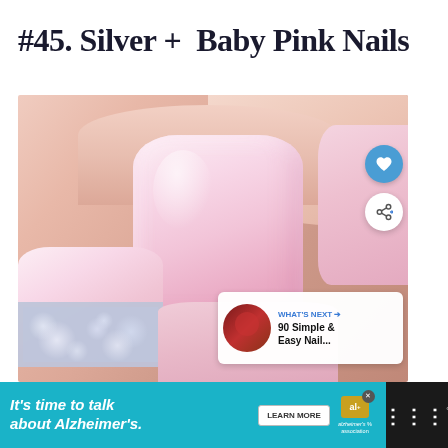#45. Silver + Baby Pink Nails
[Figure (photo): Close-up photo of hands with baby pink nail polish and one silver glitter accent nail. Social media UI overlays visible including heart/like button, share button, and 'What's Next' panel showing '90 Simple & Easy Nail...']
WHAT'S NEXT → 90 Simple & Easy Nail...
[Figure (other): Advertisement banner: 'It's time to talk about Alzheimer's.' with LEARN MORE button and Alzheimer's Association logo]